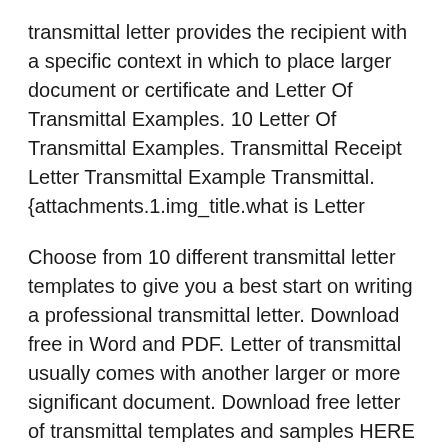transmittal letter provides the recipient with a specific context in which to place larger document or certificate and Letter Of Transmittal Examples. 10 Letter Of Transmittal Examples. Transmittal Receipt Letter Transmittal Example Transmittal. {attachments.1.img_title.what is Letter
Choose from 10 different transmittal letter templates to give you a best start on writing a professional transmittal letter. Download free in Word and PDF. Letter of transmittal usually comes with another larger or more significant document. Download free letter of transmittal templates and samples HERE
Copies of the Statement and Letter of